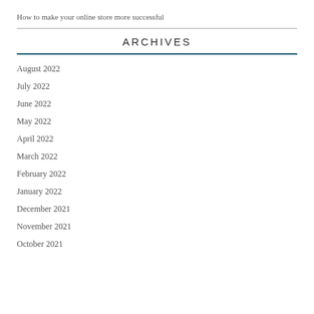How to make your online store more successful
ARCHIVES
August 2022
July 2022
June 2022
May 2022
April 2022
March 2022
February 2022
January 2022
December 2021
November 2021
October 2021